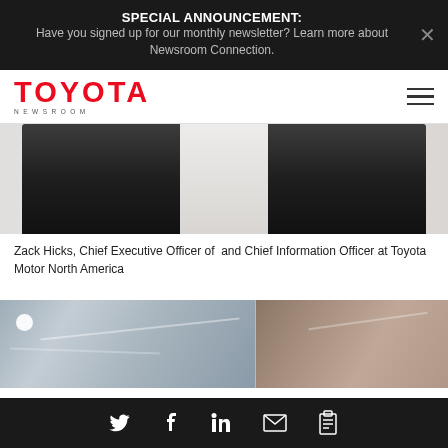SPECIAL ANNOUNCEMENT: Have you signed up for our monthly newsletter? Learn more about Newsroom Connection.
[Figure (logo): Toyota Newsroom logo — TOYOTA in red bold letters, NEWSROOM in small spaced caps below]
[Figure (photo): Cropped photo showing dark suits and white shirt, appears to be torsos of people in business attire]
Zack Hicks, Chief Executive Officer of  and Chief Information Officer at Toyota Motor North America
[Figure (photo): Two-panel photo showing industrial/office ceiling with pipes and structural elements; left side has a white circle marker]
Social share icons: Twitter, Facebook, LinkedIn, Email, Copy link